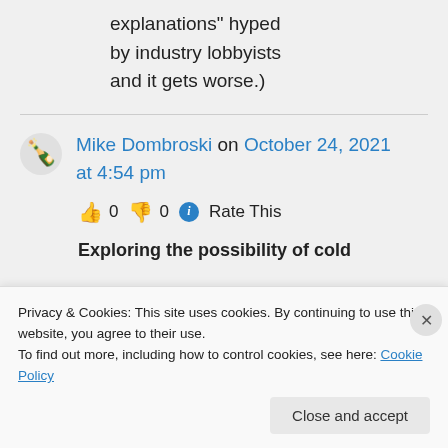explanations" hyped by industry lobbyists and it gets worse.)
Mike Dombroski on October 24, 2021 at 4:54 pm
👍 0 👎 0 ℹ Rate This
Exploring the possibility of cold
Privacy & Cookies: This site uses cookies. By continuing to use this website, you agree to their use. To find out more, including how to control cookies, see here: Cookie Policy
Close and accept